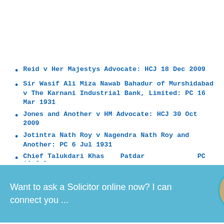Reid v Her Majestys Advocate: HCJ 18 Dec 2009
Sir Wasif Ali Miza Nawab Bahadur of Murshidabad v The Karnani Industrial Bank, Limited: PC 16 Mar 1931
Jones and Another v HM Advocate: HCJ 30 Oct 2009
Jotintra Nath Roy v Nagendra Nath Roy and Another: PC 6 Jul 1931
Want to ask a Solicitor online now? I can connect you ...
[Figure (screenshot): Petco advertisement: Your One-Stop Summer Pet Shop]
Jun 1931